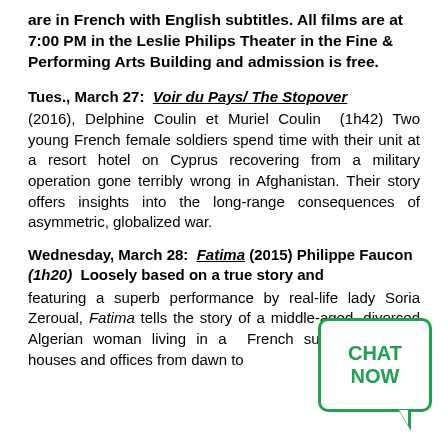are in French with English subtitles. All films are at 7:00 PM in the Leslie Philips Theater in the Fine & Performing Arts Building and admission is free.
Tues., March 27:  Voir du Pays/ The Stopover
(2016), Delphine Coulin et Muriel Coulin  (1h42) Two young French female soldiers spend time with their unit at a resort hotel on Cyprus recovering from a military operation gone terribly wrong in Afghanistan. Their story offers insights into the long-range consequences of asymmetric, globalized war.
Wednesday, March 28:  Fatima (2015) Philippe Faucon (1h20)
Loosely based on a true story and featuring a superb performance by real-life lady Soria Zeroual, Fatima tells the story of a middle-aged, divorced Algerian woman living in a French suburb, cleaning houses and offices from dawn to